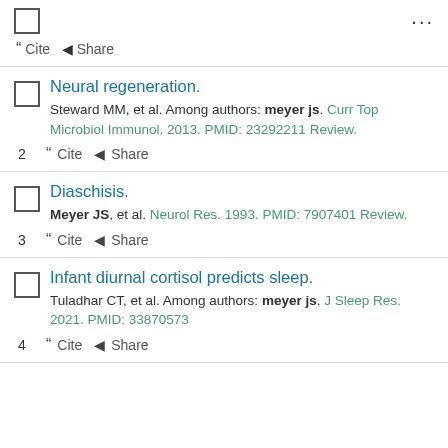… Cite  Share
2. Neural regeneration. Steward MM, et al. Among authors: meyer js. Curr Top Microbiol Immunol. 2013. PMID: 23292211 Review.
3. Diaschisis. Meyer JS, et al. Neurol Res. 1993. PMID: 7907401 Review.
4. Infant diurnal cortisol predicts sleep. Tuladhar CT, et al. Among authors: meyer js. J Sleep Res. 2021. PMID: 33870573